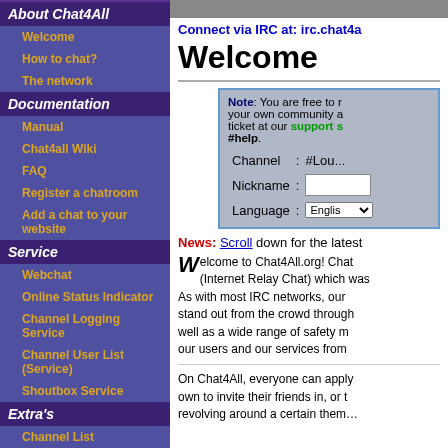Connect via IRC at: irc.chat4a
Welcome
Note: You are free to r... your own community a... ticket at our support s... #help.
About Chat4All
Welcome
How to chat?
The network
Documentation
Manual
Chat4all Wiki
FAQ
Register a chatroom
Add a chat to your website
Service
Webchat
Online Status Indicator
Channel Logging Service
Channel User List (Service)
Shoutbox Service
Extra's
Channel List
News: Scroll down for the latest
Welcome to Chat4All.org! Chat (Internet Relay Chat) which was As with most IRC networks, our stand out from the crowd through well as a wide range of safety m our users and our services from
On Chat4All, everyone can apply own to invite their friends in, or t revolving around a certain them...